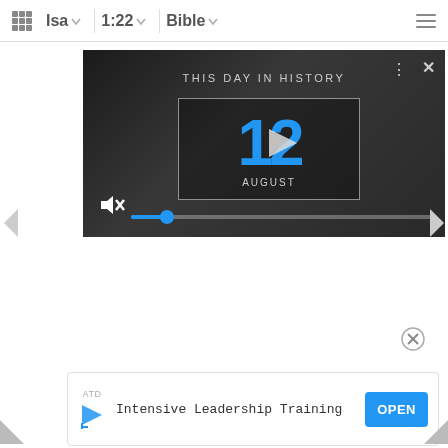Isa  1:22  Bible
[Figure (screenshot): Video player showing 'This Day In History' with date August 12, play button overlay, mute icon, and progress bar with blue dot]
[Figure (screenshot): Close button circle with X for ad]
[Figure (screenshot): Ad banner for ATD Intensive Leadership Training with OPEN button]